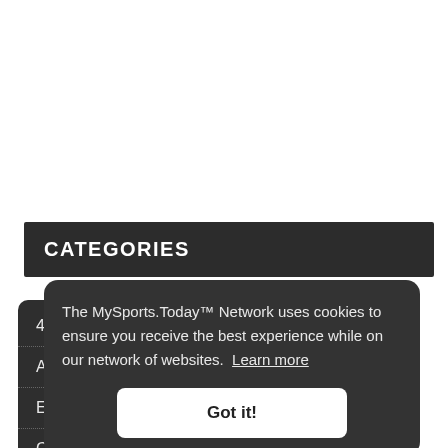CATEGORIES
49'ers
As
Earthquakes
Giants
Kings
The MySports.Today™ Network uses cookies to ensure you receive the best experience while on our network of websites. Learn more
Got it!